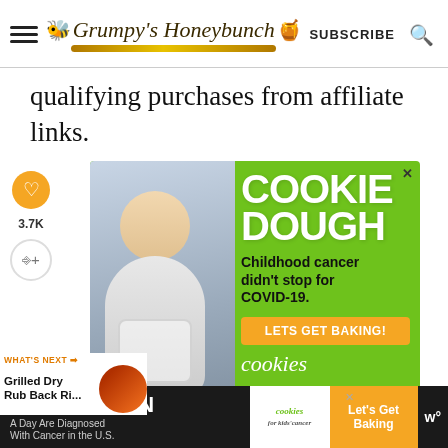Grumpy's Honeybunch | SUBSCRIBE
qualifying purchases from affiliate links.
[Figure (photo): Advertisement for Cookies for Kids' Cancer: green background with a smiling girl holding a jar, text reading COOKIE DOUGH, Childhood cancer didn't stop for COVID-19. LETS GET BAKING! cookies]
[Figure (infographic): Bottom ad bar: 43 CHILDREN A Day Are Diagnosed With Cancer in the U.S. | cookies for kids' cancer logo | Let's Get Baking button]